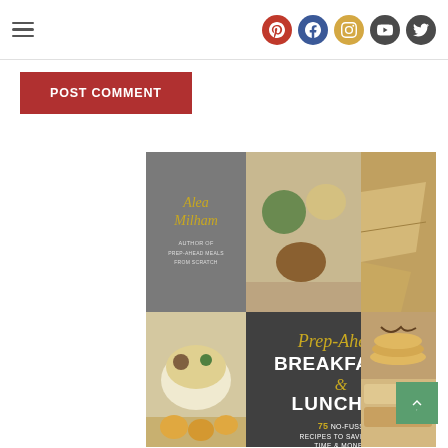Navigation header with hamburger menu and social icons (Pinterest, Facebook, Instagram, YouTube, Twitter)
POST COMMENT
[Figure (photo): Book cover for 'Prep-Ahead Breakfasts & Lunches' by Alea Milham, author of Prep-Ahead Meals from Scratch. Features food photography collage: salad bowls, quesadillas, grain bowls, pancakes, sliders, muffins, and more. Subtitle: 75 No-Fuss Recipes to Save You Time & Money.]